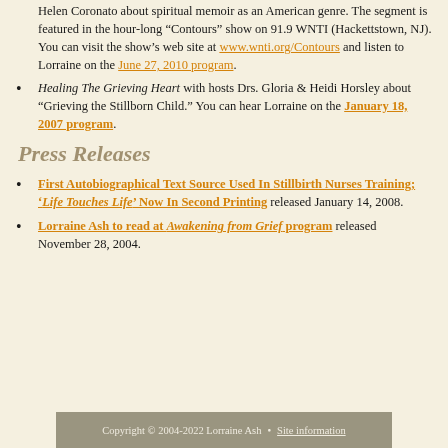Helen Coronato about spiritual memoir as an American genre. The segment is featured in the hour-long “Contours” show on 91.9 WNTI (Hackettstown, NJ). You can visit the show’s web site at www.wnti.org/Contours and listen to Lorraine on the June 27, 2010 program.
Healing The Grieving Heart with hosts Drs. Gloria & Heidi Horsley about “Grieving the Stillborn Child.” You can hear Lorraine on the January 18, 2007 program.
Press Releases
First Autobiographical Text Source Used In Stillbirth Nurses Training; ‘Life Touches Life’ Now In Second Printing released January 14, 2008.
Lorraine Ash to read at Awakening from Grief program released November 28, 2004.
Copyright © 2004-2022 Lorraine Ash • Site information